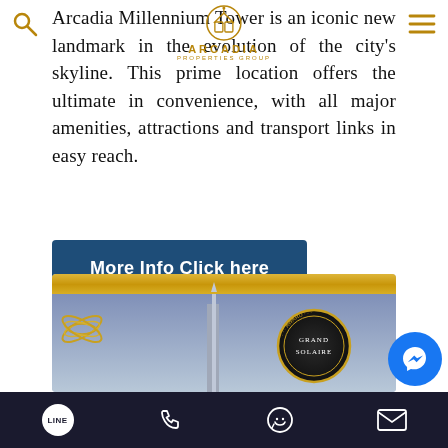Arcadia Millennium Tower is an iconic new landmark in the evolution of the city's skyline. This prime location offers the ultimate in convenience, with all major amenities, attractions and transport links in easy reach.
[Figure (logo): Arcadia Properties Group logo with circular emblem and gold text]
More Info Click here
[Figure (photo): Gold and blue award banner image showing Grand Solaire trophy and gold laurel decoration]
[Figure (other): Mobile app bottom navigation bar with LINE, phone, WhatsApp, email icons and Messenger bubble]